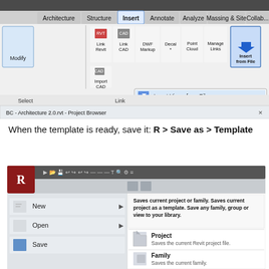[Figure (screenshot): Revit Insert tab ribbon showing Insert from File dropdown menu with options: Insert Views from File and Insert 2D Elements from File. Below is the Project Browser panel showing BC - Architecture 2.0.rvt.]
When the template is ready, save it: R > Save as > Template
[Figure (screenshot): Revit application menu (R button) showing Save As options with tooltip: Saves current project or family. Saves current project as a template. Save any family, group or view to your library. Menu items: New, Open, Save, with sub-options Project (Saves the current Revit project file.) and Family (Saves the current family.)]